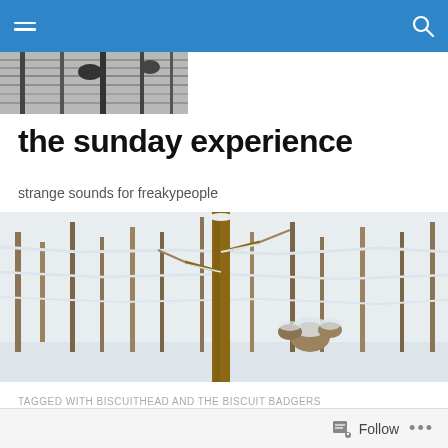Navigation bar with hamburger menu and search icon
[Figure (photo): Black and white photo strip showing snowy trees/forest scene, top-left area]
the sunday experience
strange sounds for freakypeople
[Figure (photo): Wide panoramic photo of a snow-covered winter forest with bare trees and a prominent tree trunk in the center]
TAGGED WITH BISCUITHEAD AND THE BISCUIT BADGERS
Tales from the Attic – Volume 48
Follow  •••